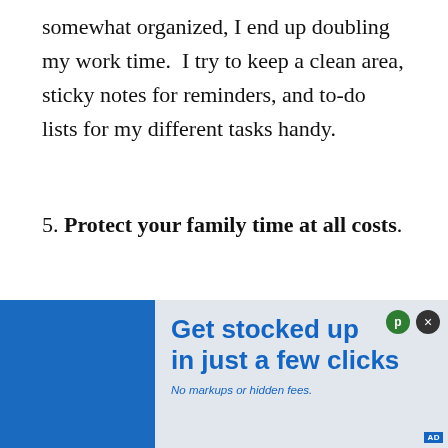somewhat organized, I end up doubling my work time.  I try to keep a clean area, sticky notes for reminders, and to-do lists for my different tasks handy.
5. Protect your family time at all costs.
I will admit, I have not always done this! I'm a work in progress but constantly trying to do better.  The hard thing about working
[Figure (other): Advertisement overlay: 'Get stocked up in just a few clicks. No markups or hidden fees.' on blue background with close button.]